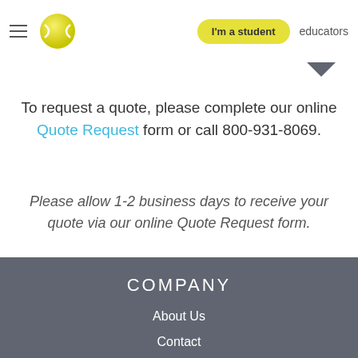Navigation bar with hamburger menu, logo ball, I'm a student button, educators link
To request a quote, please complete our online Quote Request form or call 800-931-8069.
Please allow 1-2 business days to receive your quote via our online Quote Request form.
COMPANY
About Us
Contact
Help Center
PRODUCTS & SERVICES